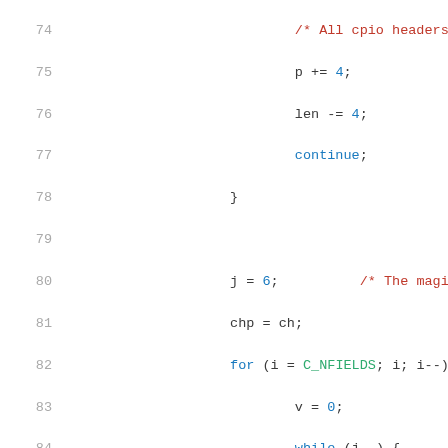Source code listing, lines 74-95, showing C code for cpio header parsing with a for/while loop structure.